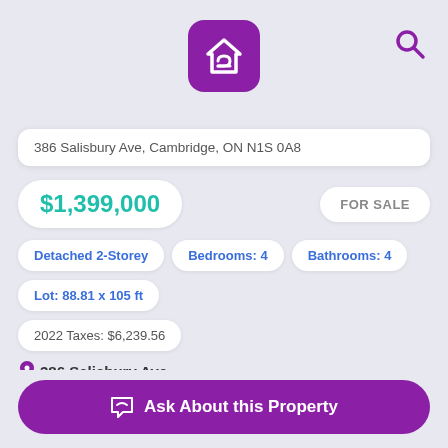[Figure (logo): SW logo in purple rounded square]
386 Salisbury Ave, Cambridge, ON N1S 0A8
$1,399,000
FOR SALE
Detached 2-Storey
Bedrooms: 4
Bathrooms: 4
Lot: 88.81 x 105 ft
2022 Taxes: $6,239.56
386 Salisbury Ave
Ask About this Property